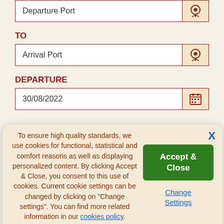Departure Port
TO
Arrival Port
DEPARTURE
30/08/2022
To ensure high quality standards, we use cookies for functional, statistical and comfort reasons as well as displaying personalized content. By clicking Accept & Close, you consent to this use of cookies. Current cookie settings can be changed by clicking on "Change settings". You can find more related information in our cookies policy.